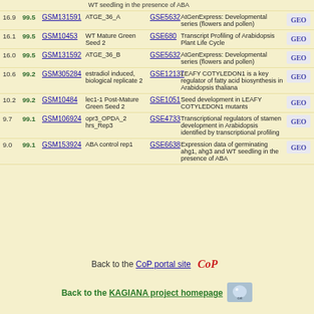WT seedling in the presence of ABA
16.9 | 99.5 | GSM131591 | ATGE_36_A | GSE5632 | AtGenExpress: Developmental series (flowers and pollen)
16.1 | 99.5 | GSM10453 | WT Mature Green Seed 2 | GSE680 | Transcript Profiling of Arabidopsis Plant Life Cycle
16.0 | 99.5 | GSM131592 | ATGE_36_B | GSE5632 | AtGenExpress: Developmental series (flowers and pollen)
10.6 | 99.2 | GSM305284 | estradiol induced, biological replicate 2 | GSE12137 | LEAFY COTYLEDON1 is a key regulator of fatty acid biosynthesis in Arabidopsis thaliana
10.2 | 99.2 | GSM10484 | lec1-1 Post-Mature Green Seed 2 | GSE1051 | Seed development in LEAFY COTYLEDON1 mutants
9.7 | 99.1 | GSM106924 | opr3_OPDA_2 hrs_Rep3 | GSE4733 | Transcriptional regulators of stamen development in Arabidopsis identified by transcriptional profiling
9.0 | 99.1 | GSM153924 | ABA control rep1 | GSE6638 | Expression data of germinating ahg1, ahg3 and WT seedling in the presence of ABA
Back to the CoP portal site
Back to the KAGIANA project homepage